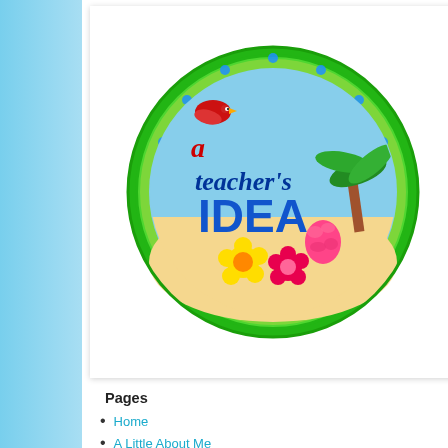[Figure (logo): A Teacher's IDEA logo — circular badge with tropical theme, green border with blue dots, colorful tropical birds, flowers, fruits, palm tree, and text 'a teacher's IDEA' in blue and dark lettering on a sky and sand background]
Pages
Home
A Little About Me
Privacy Policy
Disclosure Policy
Anchor Charts
Arts and Crafts
GRAMMAR Resources
MATH Resources
PHONICS Resources
My WRITING Resources
My VOCABULARY Resources
Welcome to our growing c depict as many collections available as well as bundle